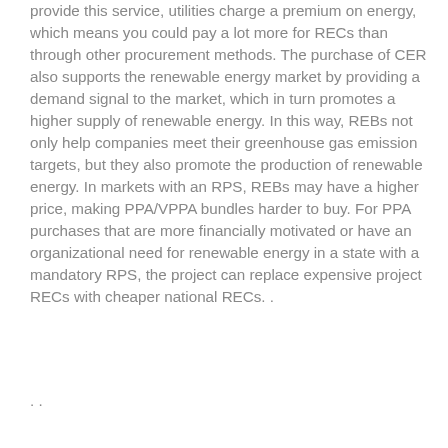provide this service, utilities charge a premium on energy, which means you could pay a lot more for RECs than through other procurement methods. The purchase of CER also supports the renewable energy market by providing a demand signal to the market, which in turn promotes a higher supply of renewable energy. In this way, REBs not only help companies meet their greenhouse gas emission targets, but they also promote the production of renewable energy. In markets with an RPS, REBs may have a higher price, making PPA/VPPA bundles harder to buy. For PPA purchases that are more financially motivated or have an organizational need for renewable energy in a state with a mandatory RPS, the project can replace expensive project RECs with cheaper national RECs. .
. .